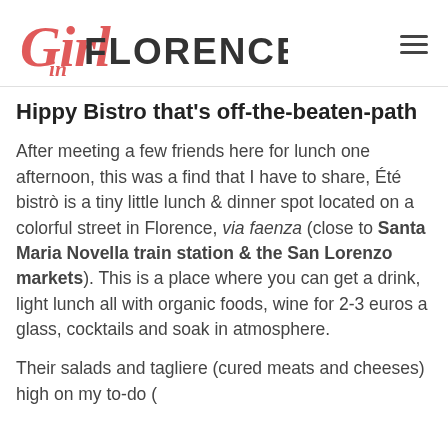Girl in Florence
Hippy Bistro that's off-the-beaten-path
After meeting a few friends here for lunch one afternoon, this was a find that I have to share, Été bistrò is a tiny little lunch & dinner spot located on a colorful street in Florence, via faenza (close to Santa Maria Novella train station & the San Lorenzo markets). This is a place where you can get a drink, light lunch all with organic foods, wine for 2-3 euros a glass, cocktails and soak in atmosphere.
Their salads and tagliere (cured meats and cheeses) high on my to-do (